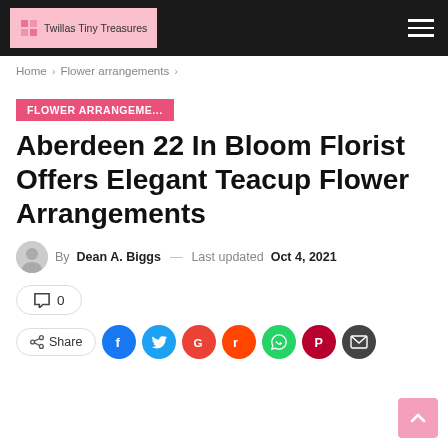Twillas Tiny Treasures
Home > Flower arrangements >
FLOWER ARRANGEME...
Aberdeen 22 In Bloom Florist Offers Elegant Teacup Flower Arrangements
By Dean A. Biggs — Last updated Oct 4, 2021
0
Share